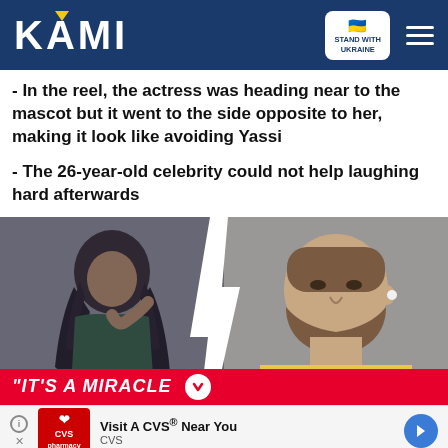KAMI
- In the reel, the actress was heading near to the mascot but it went to the side opposite to her, making it look like avoiding Yassi
- The 26-year-old celebrity could not help laughing hard afterwards
[Figure (photo): Split image of a young woman with braided hair on the left and a bearded man in a yellow sweater on the right, separated by a lightning bolt/crack shape. Banner at bottom reads "IT'S A MIRACLE"]
Visit A CVS® Near You CVS